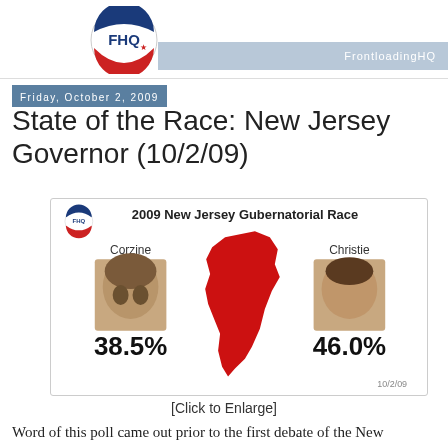FrontloadingHQ
Friday, October 2, 2009
State of the Race: New Jersey Governor (10/2/09)
[Figure (infographic): 2009 New Jersey Gubernatorial Race infographic showing Corzine at 38.5% and Christie at 46.0%, with a red silhouette of New Jersey in the center, candidate photos, and date 10/2/09]
[Click to Enlarge]
Word of this poll came out prior to the first debate of the New